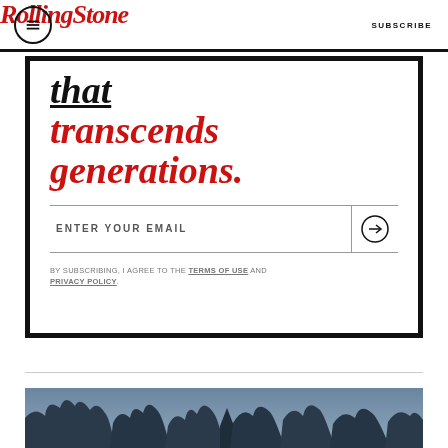RollingStone | SUBSCRIBE
that transcends generations.
ENTER YOUR EMAIL
BY SUBSCRIBING, I AGREE TO THE TERMS OF USE AND PRIVACY POLICY.
[Figure (photo): Winter outdoor scene with bare trees and a steeple visible under a blue-grey sky]